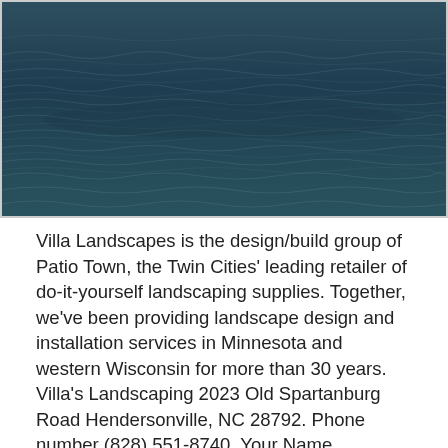[Figure (photo): Photograph of dark blue ocean water with gentle rippling waves and subtle surface texture.]
Villa Landscapes is the design/build group of Patio Town, the Twin Cities' leading retailer of do-it-yourself landscaping supplies. Together, we've been providing landscape design and installation services in Minnesota and western Wisconsin for more than 30 years. Villa's Landscaping 2023 Old Spartanburg Road Hendersonville, NC 28792. Phone number (828) 551-8740. Your Name (required) Your Email (required) Subject